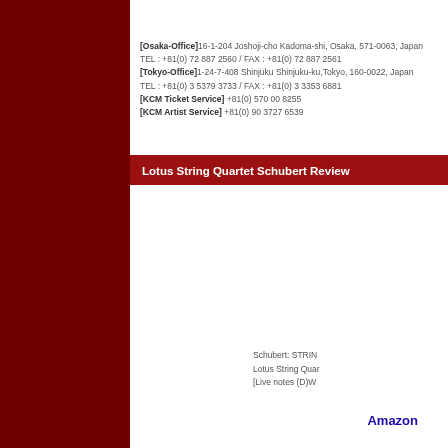[Osaka-Office]16-1-204 Joshoji-cho Kadoma-shi, Osaka, 571-0063, Japan TEL : +81(0) 72 887 2560 / FAX : +81(0) 72 887 2561 [Tokyo-Office]1-24-7-408 Shinjuku Shinjuku-ku,Tokyo, 160-0022, Japan TEL : +81(0) 3 5379 3733 / FAX : +81(0) 3 3353 6881 [KCM Ticket Service] +81(0) 570 00 8255 [KCM Artist Service] +81(0) 90 3727 6539
Lotus String Quartet Schubert Review
Schubert: STRING Lotus String Quar [Live notes (D)W
Amazon